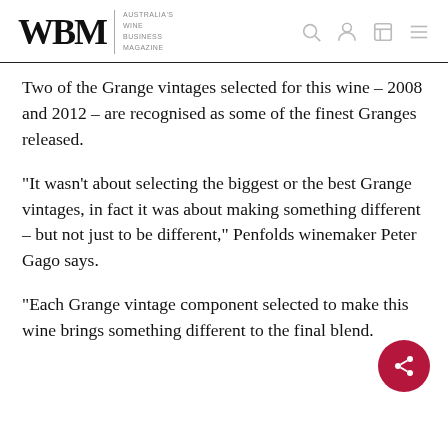WBM – Australia's Wine Business Magazine
Two of the Grange vintages selected for this wine – 2008 and 2012 – are recognised as some of the finest Granges released.
“It wasn’t about selecting the biggest or the best Grange vintages, in fact it was about making something different – but not just to be different,” Penfolds winemaker Peter Gago says.
“Each Grange vintage component selected to make this wine brings something different to the final blend.